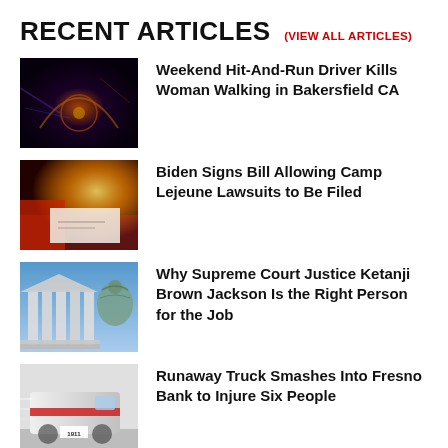RECENT ARTICLES (VIEW ALL ARTICLES)
[Figure (photo): Car dashboard with speedometer illuminated at night, motion blur effect]
Weekend Hit-And-Run Driver Kills Woman Walking in Bakersfield CA
[Figure (photo): Person signing documents at a desk with bright light in background]
Biden Signs Bill Allowing Camp Lejeune Lawsuits to Be Filed
[Figure (photo): US Supreme Court building columns with a statue in foreground]
Why Supreme Court Justice Ketanji Brown Jackson Is the Right Person for the Job
[Figure (photo): Ambulance truck in motion blur on street]
Runaway Truck Smashes Into Fresno Bank to Injure Six People